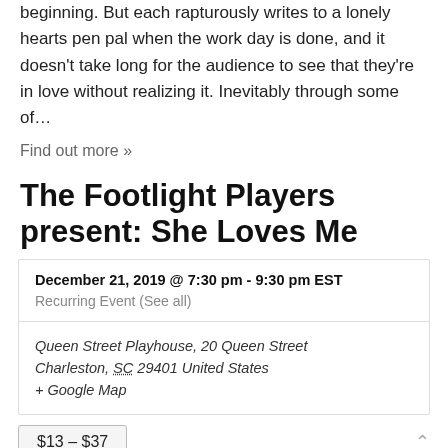beginning. But each rapturously writes to a lonely hearts pen pal when the work day is done, and it doesn't take long for the audience to see that they're in love without realizing it. Inevitably through some of...
Find out more »
The Footlight Players present: She Loves Me
| December 21, 2019 @ 7:30 pm - 9:30 pm EST |
| Recurring Event (See all) |
| Queen Street Playhouse, 20 Queen Street
Charleston, SC 29401 United States
+ Google Map |
$13 – $37